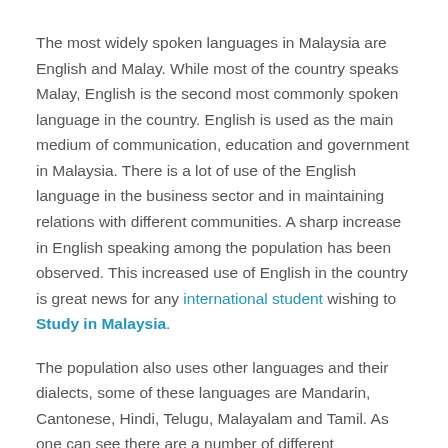The most widely spoken languages in Malaysia are English and Malay. While most of the country speaks Malay, English is the second most commonly spoken language in the country. English is used as the main medium of communication, education and government in Malaysia. There is a lot of use of the English language in the business sector and in maintaining relations with different communities. A sharp increase in English speaking among the population has been observed. This increased use of English in the country is great news for any international student wishing to Study in Malaysia.
The population also uses other languages and their dialects, some of these languages are Mandarin, Cantonese, Hindi, Telugu, Malayalam and Tamil. As one can see there are a number of different nationalities that call Malaysia their home country. The Malaysian population is diverse with people originating from different countries of various nationalities to